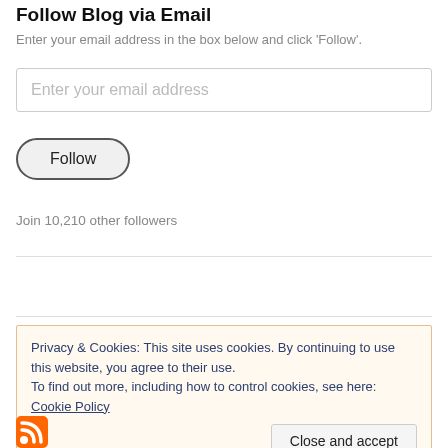Follow Blog via Email
Enter your email address in the box below and click 'Follow'.
Enter your email address
Follow
Join 10,210 other followers
Privacy & Cookies: This site uses cookies. By continuing to use this website, you agree to their use.
To find out more, including how to control cookies, see here: Cookie Policy
Close and accept